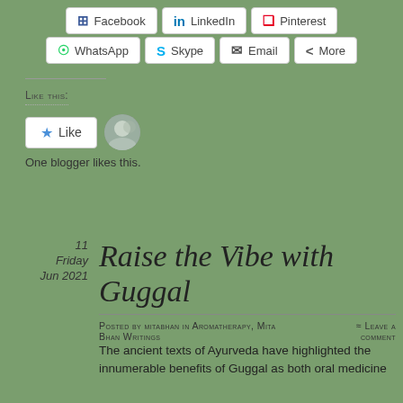[Figure (other): Social share buttons row: Facebook, LinkedIn, Pinterest]
[Figure (other): Social share buttons row: WhatsApp, Skype, Email, More]
Like this:
[Figure (other): Like button with star icon and a blogger avatar thumbnail]
One blogger likes this.
11
Friday
Jun 2021
Raise the Vibe with Guggal
Posted by mitabhan in Aromatherapy, Mita Bhan Writings ≈ Leave a comment
The ancient texts of Ayurveda have highlighted the innumerable benefits of Guggal as both oral medicine